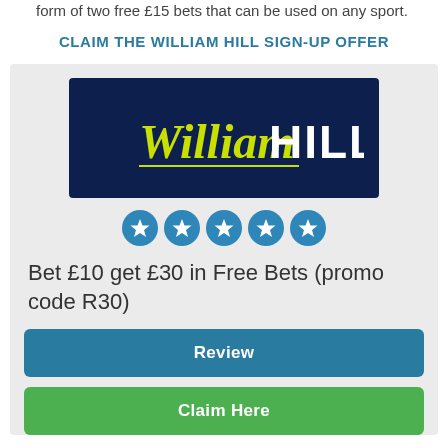form of two free £15 bets that can be used on any sport.
CLAIM THE WILLIAM HILL SIGN-UP OFFER
[Figure (logo): William Hill logo — dark navy background with yellow script 'William' and bold white 'HILL' text]
[Figure (infographic): Five blue star rating circles in a row]
Bet £10 get £30 in Free Bets (promo code R30)
Review
Claim Here